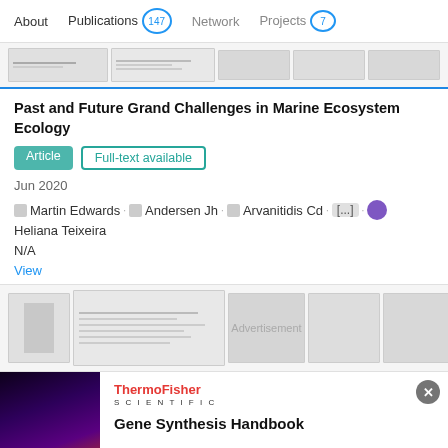About   Publications 147   Network   Projects 7
[Figure (screenshot): Thumbnail strip of a research article preview with blurred text lines and gray blocks]
Past and Future Grand Challenges in Marine Ecosystem Ecology
Article  Full-text available
Jun 2020
Martin Edwards . Andersen Jh . Arvanitidis Cd . [...] . Heliana Teixeira
N/A
View
[Figure (screenshot): Second thumbnail strip of another research article preview with blurred content and Advertisement watermark]
[Figure (screenshot): Advertisement banner: ThermoFisher Scientific - Gene Synthesis Handbook]